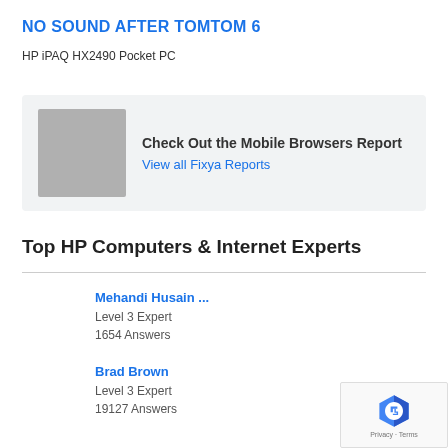NO SOUND AFTER TOMTOM 6
HP iPAQ HX2490 Pocket PC
[Figure (infographic): Advertisement banner with gray placeholder image on left. Text reads: Check Out the Mobile Browsers Report. Link: View all Fixya Reports]
Top HP Computers & Internet Experts
Mehandi Husain ...
Level 3 Expert
1654 Answers
Brad Brown
Level 3 Expert
19127 Answers